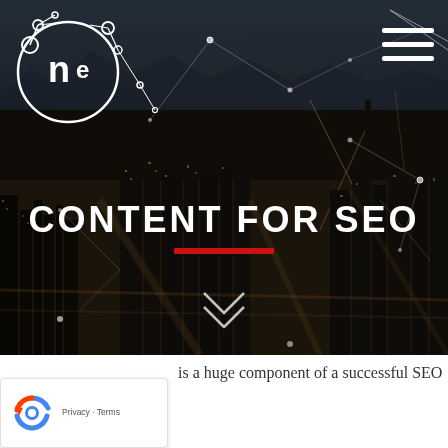[Figure (screenshot): Website hero section with aerial night city photo background (Las Vegas skyline), white circular logo with 'ne' text in upper left, hamburger menu icon upper right, network node overlay lines, large white uppercase text 'CONTENT FOR SEO' centered, red horizontal bar accent below title, double chevron down arrow near bottom]
[Figure (logo): White circular logo with bubble/atom design and lowercase 'ne' letters inside]
CONTENT FOR SEO
is a huge component of a successful SEO